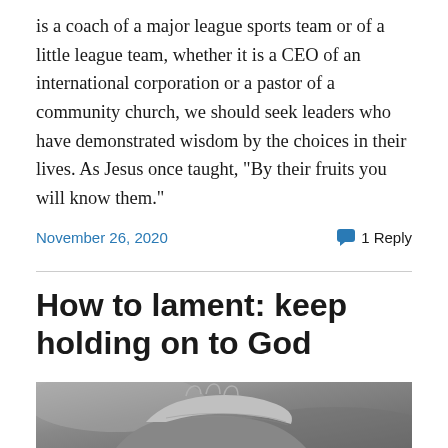is a coach of a major league sports team or of a little league team, whether it is a CEO of an international corporation or a pastor of a community church, we should seek leaders who have demonstrated wisdom by the choices in their lives. As Jesus once taught, “By their fruits you will know them.”
November 26, 2020
1 Reply
How to lament: keep holding on to God
[Figure (photo): Black and white photograph of two hands holding each other, close-up view]